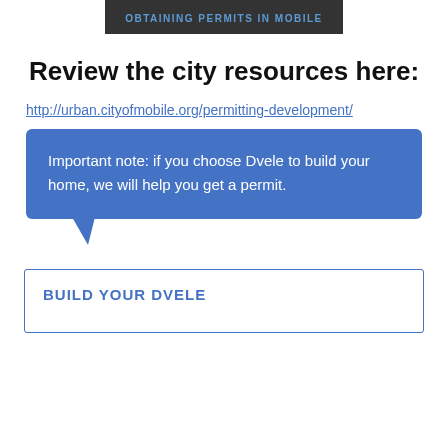OBTAINING PERMITS IN MOBILE
Review the city resources here:
http://urban.cityofmobile.org/permitting-development/
Important note: if you choose Dvele to build your home, we will help you get a permit.
BUILD YOUR DVELE